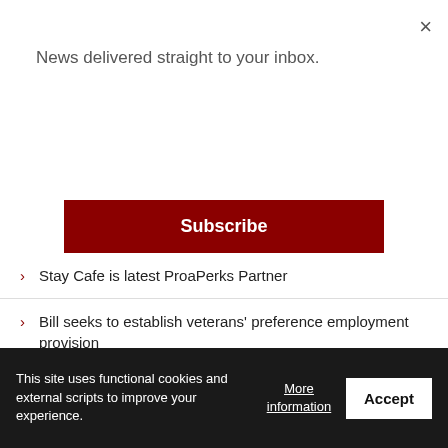News delivered straight to your inbox.
Subscribe
Stay Cafe is latest ProaPerks Partner
Bill seeks to establish veterans' preference employment provision
LIFE AND STYLE
Making new memories of food and fun at the Miyako
A book on culture, tradition and over 100 Chamoru recipes
PSS seminar aims to make libraries future-ready
This site uses functional cookies and external scripts to improve your experience.
More information
Accept